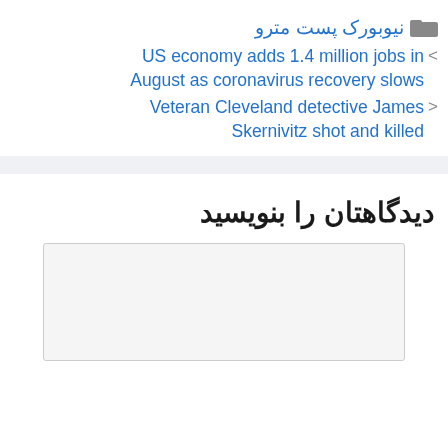نیوبورک پست مترو
US economy adds 1.4 million jobs in August as coronavirus recovery slows
Veteran Cleveland detective James Skernivitz shot and killed
دیدگاهتان را بنویسید